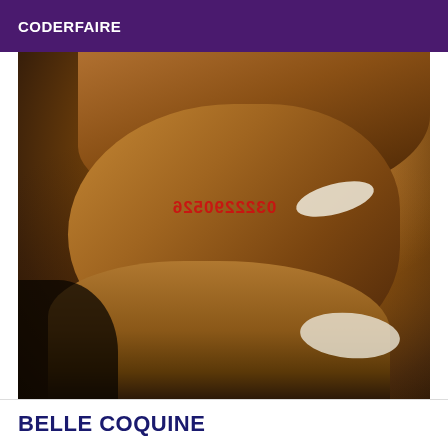CODERFAIRE
[Figure (photo): A dark-toned photo of a person on a bed with a mirrored/reversed phone number watermark in red text reading 0322290526]
BELLE COQUINE